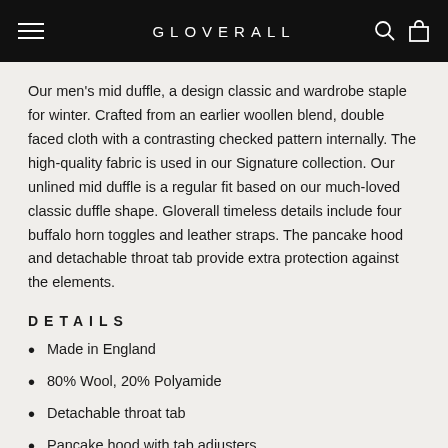GLOVERALL
Our men's mid duffle, a design classic and wardrobe staple for winter. Crafted from an earlier woollen blend, double faced cloth with a contrasting checked pattern internally. The high-quality fabric is used in our Signature collection. Our unlined mid duffle is a regular fit based on our much-loved classic duffle shape. Gloverall timeless details include four buffalo horn toggles and leather straps. The pancake hood and detachable throat tab provide extra protection against the elements.
DETAILS
Made in England
80% Wool, 20% Polyamide
Detachable throat tab
Pancake hood with tab adjusters